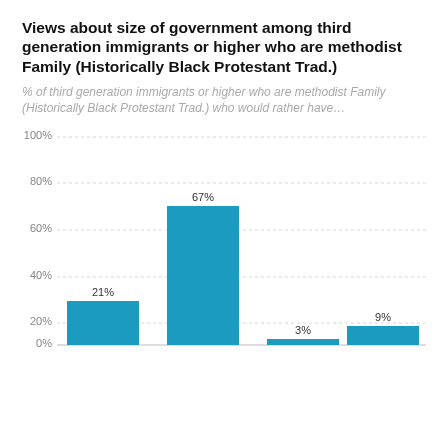Views about size of government among third generation immigrants or higher who are methodist Family (Historically Black Protestant Trad.)
% of third generation immigrants or higher who are methodist Family (Historically Black Protestant Trad.) who would rather have…
[Figure (bar-chart): Views about size of government]